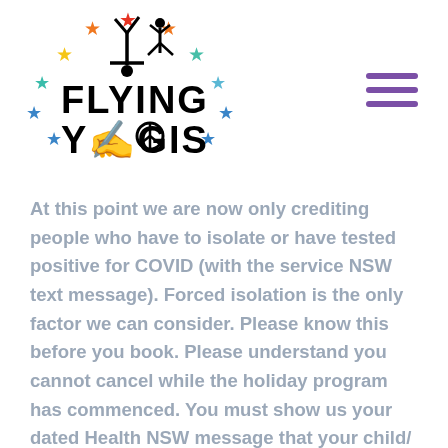[Figure (logo): Flying Yogis logo with colorful stars arranged in a semicircle, acrobatic yoga silhouette figures, text FLYING YOGIS with peace symbol]
At this point we are now only crediting people who have to isolate or have tested positive for COVID (with the service NSW text message). Forced isolation is the only factor we can consider.  Please know this before you book. Please understand you cannot cancel while the holiday program has commenced. You must show us your  dated Health NSW message that your child/ household need to isolate.